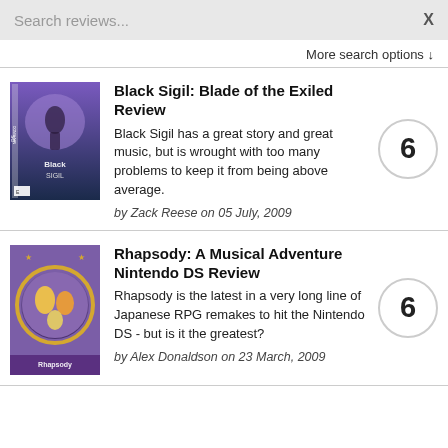Search reviews...   X
More search options ↓
Black Sigil: Blade of the Exiled Review
Black Sigil has a great story and great music, but is wrought with too many problems to keep it from being above average.
by Zack Reese on 05 July, 2009
Rhapsody: A Musical Adventure Nintendo DS Review
Rhapsody is the latest in a very long line of Japanese RPG remakes to hit the Nintendo DS - but is it the greatest?
by Alex Donaldson on 23 March, 2009